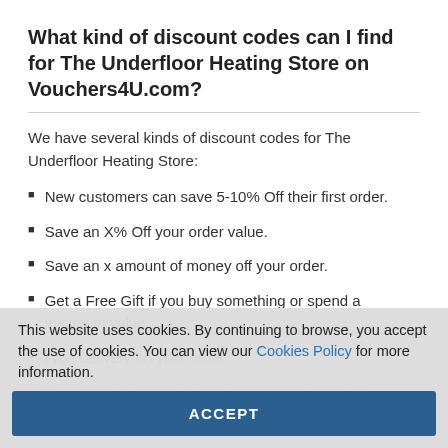What kind of discount codes can I find for The Underfloor Heating Store on Vouchers4U.com?
We have several kinds of discount codes for The Underfloor Heating Store:
New customers can save 5-10% Off their first order.
Save an X% Off your order value.
Save an x amount of money off your order.
Get a Free Gift if you buy something or spend a minimum value.
Free delivery on your order.
This website uses cookies. By continuing to browse, you accept the use of cookies. You can view our Cookies Policy for more information.